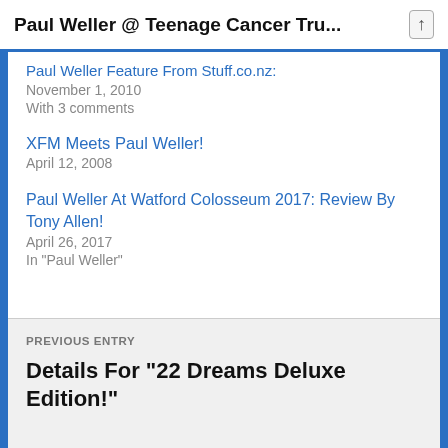Paul Weller @ Teenage Cancer Tru...
Paul Weller Feature From Stuff.co.nz!
November 1, 2010
With 3 comments
XFM Meets Paul Weller!
April 12, 2008
Paul Weller At Watford Colosseum 2017: Review By Tony Allen!
April 26, 2017
In "Paul Weller"
PREVIOUS ENTRY
Details For "22 Dreams Deluxe Edition!"